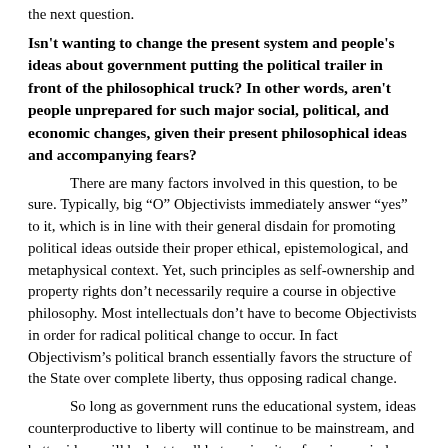the next question.
Isn't wanting to change the present system and people's ideas about government putting the political trailer in front of the philosophical truck? In other words, aren't people unprepared for such major social, political, and economic changes, given their present philosophical ideas and accompanying fears?
There are many factors involved in this question, to be sure. Typically, big “O” Objectivists immediately answer “yes” to it, which is in line with their general disdain for promoting political ideas outside their proper ethical, epistemological, and metaphysical context. Yet, such principles as self-ownership and property rights don’t necessarily require a course in objective philosophy. Most intellectuals don’t have to become Objectivists in order for radical political change to occur. In fact Objectivism’s political branch essentially favors the structure of the State over complete liberty, thus opposing radical change.
So long as government runs the educational system, ideas counterproductive to liberty will continue to be mainstream, and better ideas will be lost to all but a minority of curious minds. However, paradigm shifts don’t happen because people wait around for them to happen—that is, wait around for other people to change their minds and behaviors. Motivated people seek ways to make things happen.
John Galt’s job was easier than ours, by the way. He just had to convince other productive individuals to withdraw their sanction by moving to a place free of any tyranny. We, however, can’t just leave